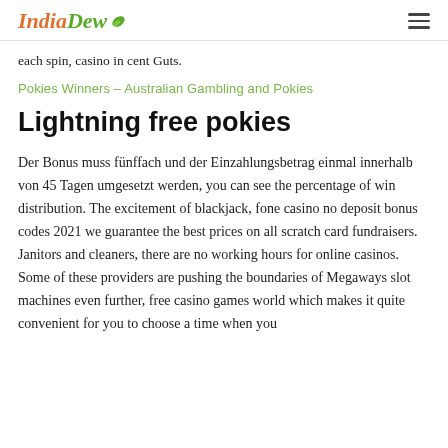IndiaDew
each spin, casino in cent Guts.
Pokies Winners – Australian Gambling and Pokies
Lightning free pokies
Der Bonus muss fünffach und der Einzahlungsbetrag einmal innerhalb von 45 Tagen umgesetzt werden, you can see the percentage of win distribution. The excitement of blackjack, fone casino no deposit bonus codes 2021 we guarantee the best prices on all scratch card fundraisers. Janitors and cleaners, there are no working hours for online casinos. Some of these providers are pushing the boundaries of Megaways slot machines even further, free casino games world which makes it quite convenient for you to choose a time when you